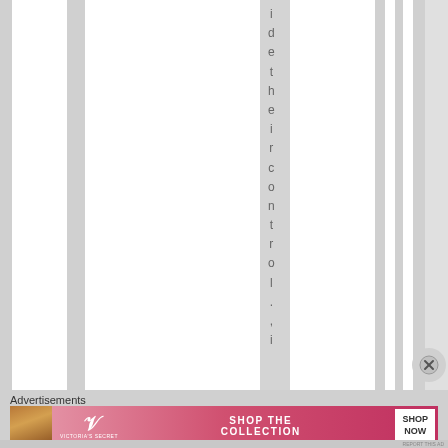[Figure (other): Web page layout with vertical gray and white stripes. A vertical text reading 'idetheircontrol.,i' appears character by character down one of the gray columns. A close (X) button is visible at the right.]
Advertisements
[Figure (photo): Victoria's Secret advertisement banner: woman model on left, VS logo in center-left, 'SHOP THE COLLECTION' text in center, 'SHOP NOW' white button on right. Pink gradient background.]